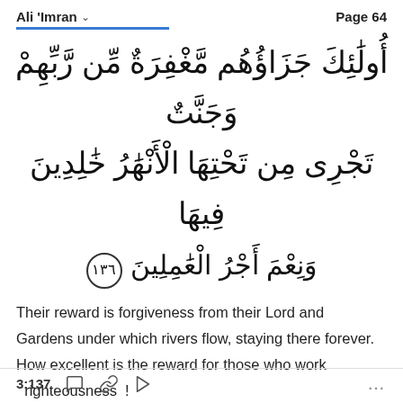Ali 'Imran   Page 64
أُولَٰئِكَ جَزَاؤُهُم مَّغْفِرَةٌ مِّن رَّبِّهِمْ وَجَنَّتٌ تَجْرِى مِن تَحْتِهَا ٱلْأَنْهَٰرُ خَٰلِدِينَ فِيهَا ۛ وَنِعْمَ أَجْرُ ٱلْعَٰمِلِينَ ١٣٦
Their reward is forgiveness from their Lord and Gardens under which rivers flow, staying there forever. How excellent is the reward for those who work righteousness !
3:137